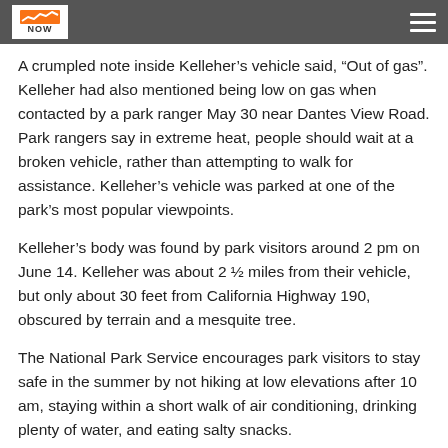VOTE NOW (logo) — navigation header
A crumpled note inside Kelleher’s vehicle said, “Out of gas”. Kelleher had also mentioned being low on gas when contacted by a park ranger May 30 near Dantes View Road. Park rangers say in extreme heat, people should wait at a broken vehicle, rather than attempting to walk for assistance. Kelleher’s vehicle was parked at one of the park’s most popular viewpoints.
Kelleher’s body was found by park visitors around 2 pm on June 14. Kelleher was about 2 ½ miles from their vehicle, but only about 30 feet from California Highway 190, obscured by terrain and a mesquite tree.
The National Park Service encourages park visitors to stay safe in the summer by not hiking at low elevations after 10 am, staying within a short walk of air conditioning, drinking plenty of water, and eating salty snacks.